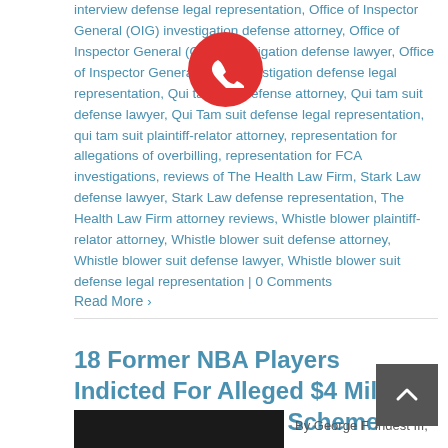interview defense legal representation, Office of Inspector General (OIG) investigation defense attorney, Office of Inspector General (OIG) investigation defense lawyer, Office of Inspector General (OIG) investigation defense legal representation, Qui tam suit defense attorney, Qui tam suit defense lawyer, Qui Tam suit defense legal representation, qui tam suit plaintiff-relator attorney, representation for allegations of overbilling, representation for FCA investigations, reviews of The Health Law Firm, Stark Law defense lawyer, Stark Law defense representation, The Health Law Firm attorney reviews, Whistle blower plaintiff-relator attorney, Whistle blower suit defense attorney, Whistle blower suit defense lawyer, Whistle blower suit defense legal representation | 0 Comments
Read More >
18 Former NBA Players Indicted For Alleged $4 Million Health Care Fraud Scheme
By George F. Indest III,
[Figure (photo): Dark image thumbnail at bottom left of article]
[Figure (other): Red circular phone call button overlay]
[Figure (other): Dark grey back-to-top arrow button]